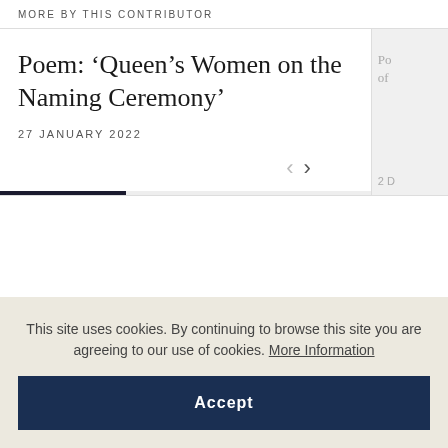MORE BY THIS CONTRIBUTOR
Poem: ‘Queen’s Women on the Naming Ceremony’
27 JANUARY 2022
This site uses cookies. By continuing to browse this site you are agreeing to our use of cookies. More Information
Accept